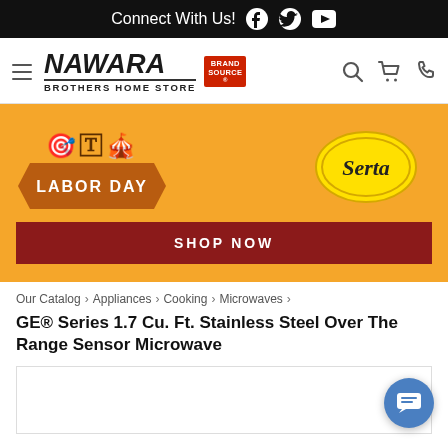Connect With Us!
[Figure (logo): Nawara Brothers Home Store Brand Source logo with hamburger menu, search, cart, and phone icons]
[Figure (infographic): Labor Day sale banner with Serta logo on orange background and Shop Now button]
Our Catalog › Appliances › Cooking › Microwaves ›
GE® Series 1.7 Cu. Ft. Stainless Steel Over The Range Sensor Microwave
[Figure (photo): Product image area (partially visible)]